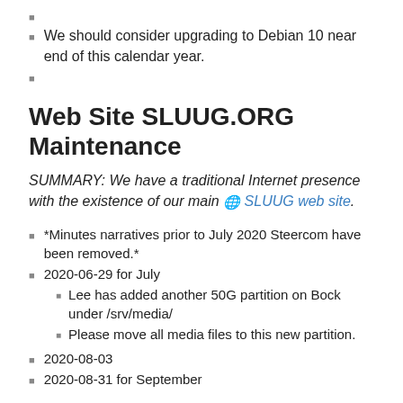We should consider upgrading to Debian 10 near end of this calendar year.
Web Site SLUUG.ORG Maintenance
SUMMARY: We have a traditional Internet presence with the existence of our main 🌐 SLUUG web site.
*Minutes narratives prior to July 2020 Steercom have been removed.*
2020-06-29 for July
Lee has added another 50G partition on Bock under /srv/media/
Please move all media files to this new partition.
2020-08-03
2020-08-31 for September